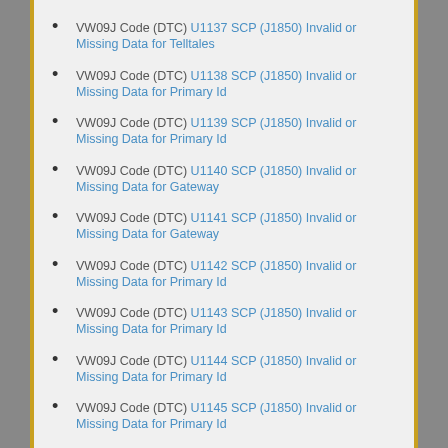VW09J Code (DTC) U1137 SCP (J1850) Invalid or Missing Data for Telltales
VW09J Code (DTC) U1138 SCP (J1850) Invalid or Missing Data for Primary Id
VW09J Code (DTC) U1139 SCP (J1850) Invalid or Missing Data for Primary Id
VW09J Code (DTC) U1140 SCP (J1850) Invalid or Missing Data for Gateway
VW09J Code (DTC) U1141 SCP (J1850) Invalid or Missing Data for Gateway
VW09J Code (DTC) U1142 SCP (J1850) Invalid or Missing Data for Primary Id
VW09J Code (DTC) U1143 SCP (J1850) Invalid or Missing Data for Primary Id
VW09J Code (DTC) U1144 SCP (J1850) Invalid or Missing Data for Primary Id
VW09J Code (DTC) U1145 SCP (J1850) Invalid or Missing Data for Primary Id
VW09J Code (DTC) U1146 SCP (J1850) Invalid or Missing Data for Vehicle Security
VW09J Code (DTC) U1147 SCP (J1850) Invalid or Missing Data for Vehicle Security